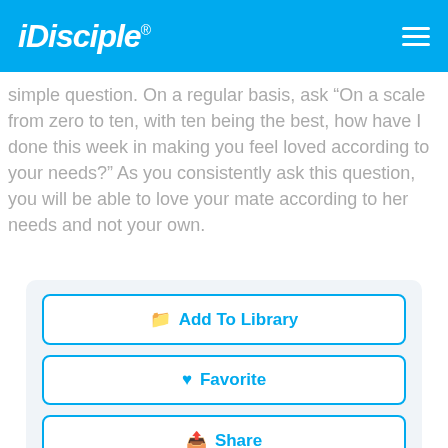iDisciple
simple question. On a regular basis, ask “On a scale from zero to ten, with ten being the best, how have I done this week in making you feel loved according to your needs?” As you consistently ask this question, you will be able to love your mate according to her needs and not your own.
📁 Add To Library
♥ Favorite
📤 Share
👍 Like 239